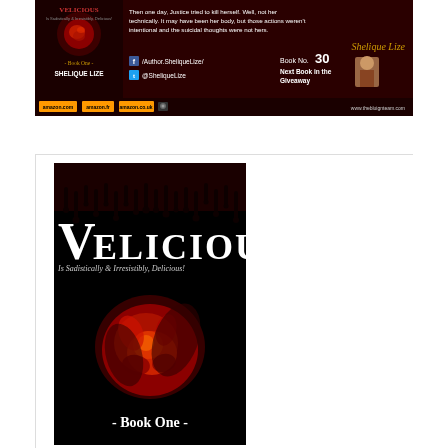[Figure (illustration): Top promotional banner for the book 'Velicious' by Shelique Lize. Dark red/maroon background with rose logo, text excerpt, social media links (/Author.SheliqueLize/ and @SheliqueLize), Book No. 30 designation, 'Next Book in the Giveaway' label, author photo, and Amazon purchase links. Website www.thebluignteam.com shown.]
[Figure (illustration): Book cover for 'Velicious - Book One' by Shelique Lize. Black background with dark red dripping effect at top. Title 'VELICIOUS' in large white serif letters. Subtitle 'Is Sadistically & Irresistibly, Delicious!' A large red rose in the center. '- Book One -' text at the bottom.]